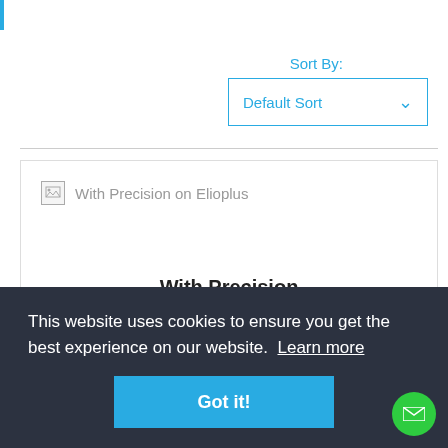|
Sort By:
Default Sort
[Figure (screenshot): Product listing card showing broken image placeholder with text 'With Precision on Elioplus']
With Precision
Oups, we are sorry but there are no description data for
This website uses cookies to ensure you get the best experience on our website. Learn more
Got it!